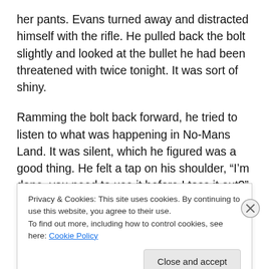her pants. Evans turned away and distracted himself with the rifle. He pulled back the bolt slightly and looked at the bullet he had been threatened with twice tonight. It was sort of shiny.
Ramming the bolt back forward, he tried to listen to what was happening in No-Mans Land. It was silent, which he figured was a good thing. He felt a tap on his shoulder, “I’m done, you need to use it before I toss it out?”
Lucy held up the bucket, half filled with liquid, with a few solid bits floating within. It amazed Evans that he didn’t
Privacy & Cookies: This site uses cookies. By continuing to use this website, you agree to their use.
To find out more, including how to control cookies, see here: Cookie Policy
Close and accept